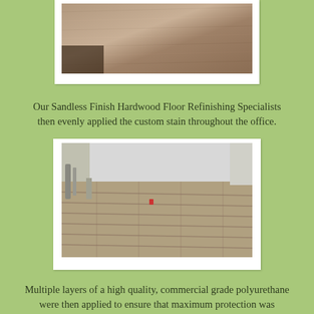[Figure (photo): Top-down view of hardwood floor with wood grain visible, stained in grey-brown tones, partially cropped at top of page]
Our Sandless Finish Hardwood Floor Refinishing Specialists then evenly applied the custom stain throughout the office.
[Figure (photo): Room with refinished hardwood floor, grey-brown stained wood planks visible from above, white walls, some pipes visible at left, small red object on floor]
Multiple layers of a high quality, commercial grade polyurethane were then applied to ensure that maximum protection was achieved to keep the hardwood floors healthy well into the future